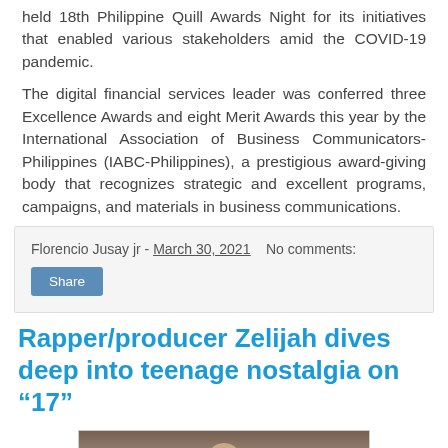held 18th Philippine Quill Awards Night for its initiatives that enabled various stakeholders amid the COVID-19 pandemic.
The digital financial services leader was conferred three Excellence Awards and eight Merit Awards this year by the International Association of Business Communicators-Philippines (IABC-Philippines), a prestigious award-giving body that recognizes strategic and excellent programs, campaigns, and materials in business communications.
Florencio Jusay jr - March 30, 2021   No comments:
Share
Rapper/producer Zelijah dives deep into teenage nostalgia on “17”
[Figure (photo): Photo of a person, likely the rapper/producer Zelijah, partially visible at the bottom of the page]